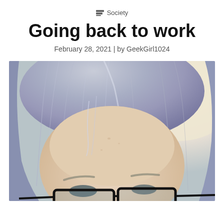Society
Going back to work
February 28, 2021 | by GeekGirl1024
[Figure (photo): Close-up selfie photo of a person with gray-purple/silver hair and black-rimmed glasses, showing forehead and top portion of face, taken from slightly above]